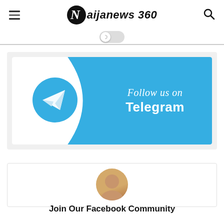Naijanews 360
[Figure (illustration): Follow us on Telegram banner with Telegram logo circle and blue background]
[Figure (photo): Circular avatar photo of a person, partial view at bottom of page]
Join Our Facebook Community